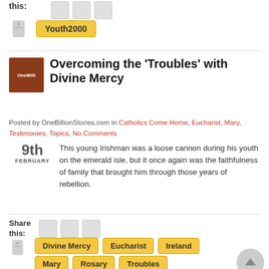this:
Youth2000
Overcoming the 'Troubles' with Divine Mercy
Posted by OneBillionStories.com in Catholics Come Home, Eucharist, Mary, Testimonies, Topics, No Comments
9th FEBRUARY
This young Irishman was a loose cannon during his youth on the emerald isle, but it once again was the faithfulness of family that brought him through those years of rebellion.
Share this:
Divine Mercy  Eucharist  Ireland  Mary  Rosary  Troubles